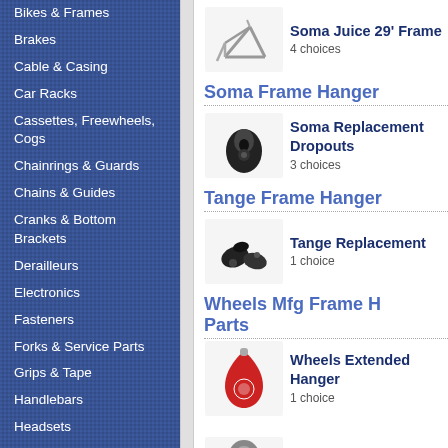Bikes & Frames
Brakes
Cable & Casing
Car Racks
Cassettes, Freewheels, Cogs
Chainrings & Guards
Chains & Guides
Cranks & Bottom Brackets
Derailleurs
Electronics
Fasteners
Forks & Service Parts
Grips & Tape
Handlebars
Headsets
Hubs
Inflation
Lights
Locks
Maintenance Products
Merchandising
Nutrition & Wellness
Pedals
Rear Shocks & Service Parts
Soma Frame Hanger
Soma Juice 29' Frame
4 choices
Soma Replacement Dropouts
3 choices
Tange Frame Hanger
Tange Replacement
1 choice
Wheels Mfg Frame Hanger Parts
Wheels Extended Hanger
1 choice
Wheels Emergency